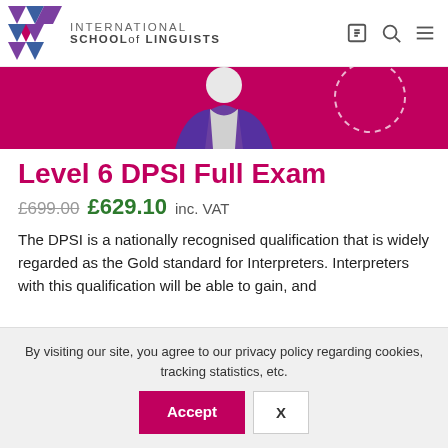[Figure (logo): International School of Linguists logo with geometric purple/blue triangular icon and text]
[Figure (illustration): Hero banner image with magenta background showing a person in purple outfit]
Level 6 DPSI Full Exam
£699.00 £629.10 inc. VAT
The DPSI is a nationally recognised qualification that is widely regarded as the Gold standard for Interpreters. Interpreters with this qualification will be able to gain, and
By visiting our site, you agree to our privacy policy regarding cookies, tracking statistics, etc.